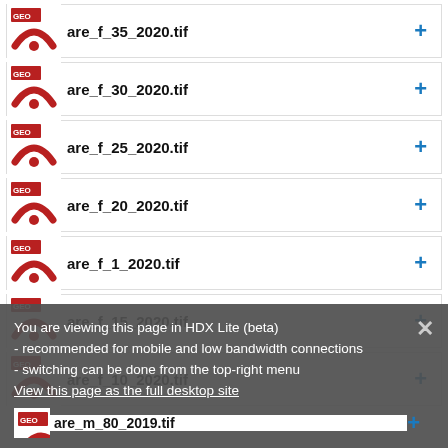are_f_35_2020.tif
are_f_30_2020.tif
are_f_25_2020.tif
are_f_20_2020.tif
are_f_1_2020.tif
are_f_15_2020.tif
are_f_10_2020.tif
are_f_5_2020.tif (partially visible)
are_m_80_2019.tif (partially visible)
You are viewing this page in HDX Lite (beta)
- recommended for mobile and low bandwidth connections
- switching can be done from the top-right menu
View this page as the full desktop site